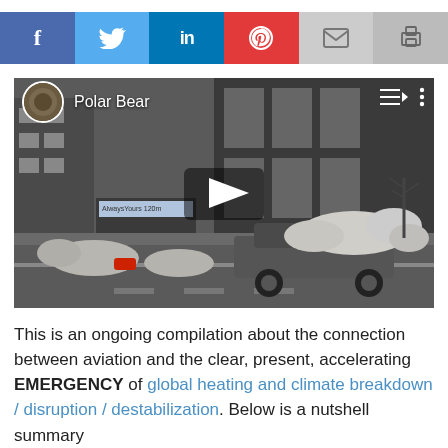[Figure (infographic): Social media share bar with icons for Facebook, Twitter, LinkedIn, Pinterest, Email, and Print]
[Figure (screenshot): Video thumbnail showing polar bears lying in a city street scene with text 'Polar Bear' and a play button overlay]
This is an ongoing compilation about the connection between aviation and the clear, present, accelerating EMERGENCY of global heating and climate breakdown / disruption / destabilization. Below is a nutshell summary and 1-list for all categories. It is bigger — a comprehensive, fleshed